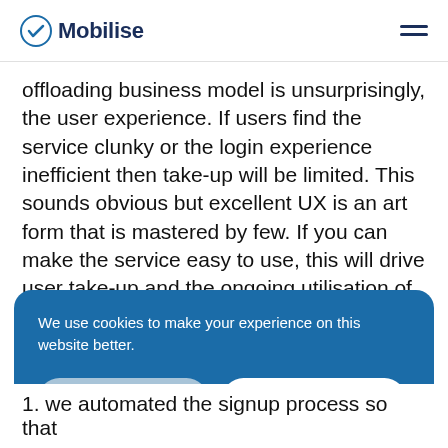Mobilise
offloading business model is unsurprisingly, the user experience. If users find the service clunky or the login experience inefficient then take-up will be limited. This sounds obvious but excellent UX is an art form that is mastered by few. If you can make the service easy to use, this will drive user take-up and the ongoing utilisation of the service. The
We use cookies to make your experience on this website better.
COOKIE POLICY  ACCEPT COOKIES
1. we automated the signup process so that